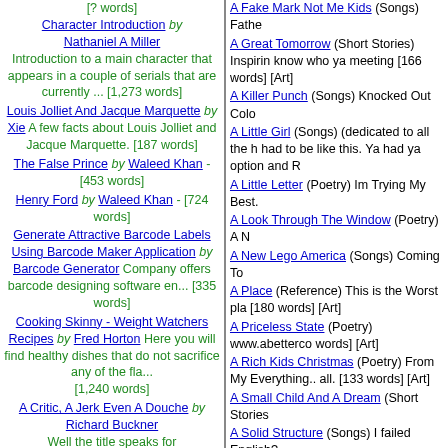[? words] Character Introduction by Nathaniel A Miller Introduction to a main character that appears in a couple of serials that are currently ... [1,273 words]
Louis Jolliet And Jacque Marquette by Xie A few facts about Louis Jolliet and Jacque Marquette. [187 words]
The False Prince by Waleed Khan - [453 words]
Henry Ford by Waleed Khan - [724 words]
Generate Attractive Barcode Labels Using Barcode Maker Application by Barcode Generator Company offers barcode designing software en... [335 words]
Cooking Skinny - Weight Watchers Recipes by Fred Horton Here you will find healthy dishes that do not sacrifice any of the fla... [1,240 words]
A Critic, A Jerk Even A Douche by Richard Buckner Well the title speaks for
A Fake Mark Not Me Kids (Songs) Father...
A Great Tomorrow (Short Stories) Inspiring know who ya meeting [166 words] [Art]
A Killer Punch (Songs) Knocked Out Colo
A Little Girl (Songs) (dedicated to all the h had to be like this. Ya had ya option and R
A Little Letter (Poetry) Im Trying My Best.
A Look Through The Window (Poetry) A N
A New Lego America (Songs) Coming To
A Place (Reference) This is the Worst pla [180 words] [Art]
A Priceless State (Poetry) www.abetterco words] [Art]
A Rich Kids Christmas (Poetry) From My Everything.. all. [133 words] [Art]
A Small Child And A Dream (Short Stories
A Solid Structure (Songs) I failed English?
A Way For Ya To Understand (Reference)
Aberdeen (Songs) About Fame.. [148 wo
Alive And Well (Songs) Living It Eh T :) E [Art]
All I Gotta Say (Reference) You People m
All Mine (Poetry) That Smile is Forever [4
Alot Of Space Like A Mafia Case (Songs) [Art]
Am I Crazy (Songs) I Just Don't Know.. [1
Another Loser (Poetry) attn.Storymania.a